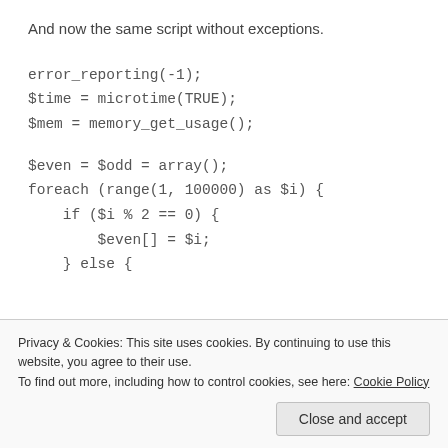And now the same script without exceptions.
error_reporting(-1);
$time = microtime(TRUE);
$mem = memory_get_usage();

$even = $odd = array();
foreach (range(1, 100000) as $i) {
    if ($i % 2 == 0) {
        $even[] = $i;
    } else {
Privacy & Cookies: This site uses cookies. By continuing to use this website, you agree to their use.
To find out more, including how to control cookies, see here: Cookie Policy
Close and accept